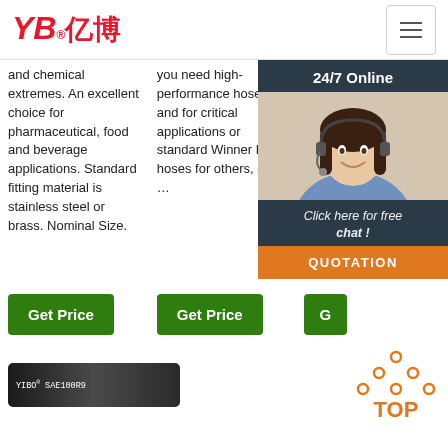YB亿博® [hamburger menu]
and chemical extremes. An excellent choice for pharmaceutical, food and beverage applications. Standard fitting material is stainless steel or brass. Nominal Size.
you need high-performance hoses and for critical applications or standard Winner PTFE hoses for others, our …
'Conduct our rela... resp... hon... Che... exc... env... resp... coo... leve...
[Figure (photo): Customer service representative woman with headset smiling, shown in a chat popup overlay with '24/7 Online' header, 'Click here for free chat!' text, and orange QUOTATION button]
Get Price
Get Price
G[et Price]
[Figure (infographic): TOP button icon with orange dots arranged in triangle/arrow pattern above the text TOP in orange]
[Figure (photo): YIBO SAE100R9 hose product image, dark colored industrial hose]